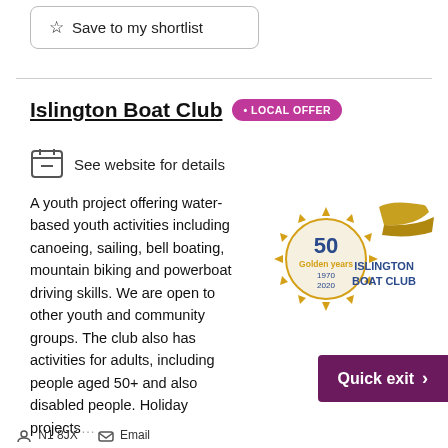☆ Save to my shortlist
Islington Boat Club • LOCAL OFFER
See website for details
[Figure (logo): Islington Boat Club 50 Golden Years 1970-2020 logo with gold medal and gold boat graphic]
A youth project offering water-based youth activities including canoeing, sailing, bell boating, mountain biking and powerboat driving skills. We are open to other youth and community groups. The club also has activities for adults, including people aged 50+ and also disabled people. Holiday projects...
Quick exit >
N1 8JX   Email